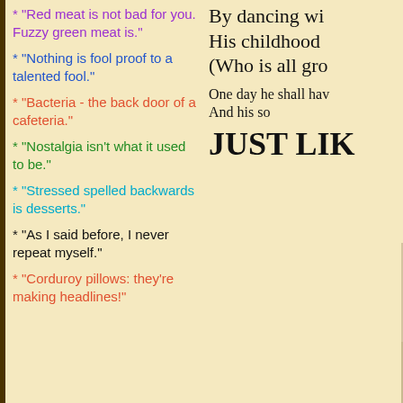* "Red meat is not bad for you. Fuzzy green meat is."
* "Nothing is fool proof to a talented fool."
* "Bacteria - the back door of a cafeteria."
* "Nostalgia isn't what it used to be."
* "Stressed spelled backwards is desserts."
* "As I said before, I never repeat myself."
* "Corduroy pillows: they're making headlines!"
By dancing wi...
His childhood...
(Who is all gro...
One day he shall hav...
And his so...
JUST LIK...
[Figure (photo): A child wearing colorful layered clothing, laughing or smiling, photographed indoors.]